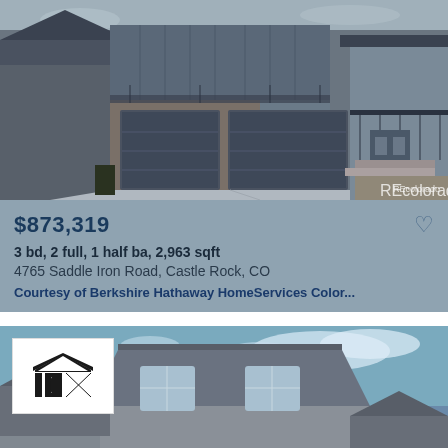[Figure (photo): Exterior photo of a modern two-story house with gray board-and-batten siding, stone accents, two-car garage, concrete driveway, and covered front porch]
$873,319
3 bd, 2 full, 1 half ba, 2,963 sqft
4765 Saddle Iron Road, Castle Rock, CO
Courtesy of Berkshire Hathaway HomeServices Color...
[Figure (photo): Exterior photo of a two-story craftsman-style house with gray siding, white trim, multiple gables, front porch, and blue sky background, with IDX logo overlay in top-left corner]